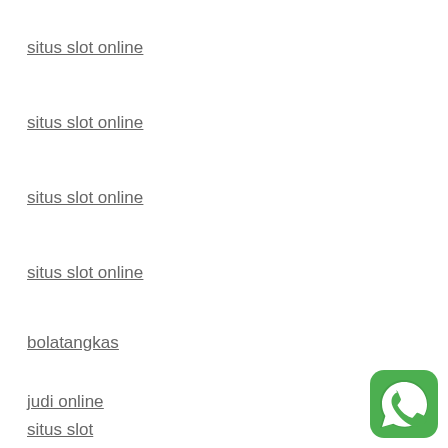situs slot online
situs slot online
situs slot online
situs slot online
bolatangkas
judi online
situs slot
[Figure (logo): WhatsApp logo — green rounded square icon with white phone handset]